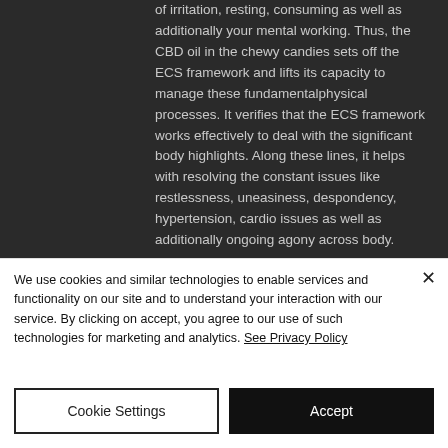of irritation, resting, consuming as well as additionally your mental working. Thus, the CBD oil in the chewy candies sets off the ECS framework and lifts its capacity to manage these fundamentalphysical processes. It verifies that the ECS framework works effectively to deal with the significant body highlights. Along these lines, it helps with resolving the constant issues like restlessness, uneasiness, despondency, hypertension, cardio issues as well as additionally ongoing agony across body.
We use cookies and similar technologies to enable services and functionality on our site and to understand your interaction with our service. By clicking on accept, you agree to our use of such technologies for marketing and analytics. See Privacy Policy